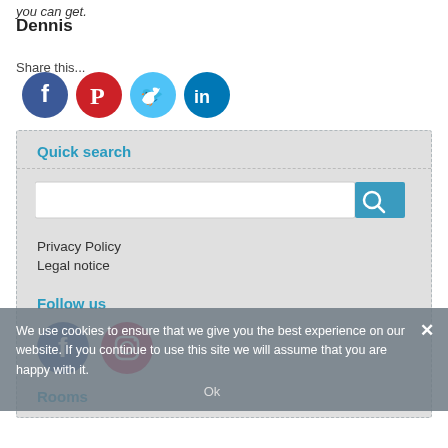you can get.
Dennis
Share this...
[Figure (infographic): Row of four social media share icons: Facebook (dark blue circle), Pinterest (red circle), Twitter (light blue circle), LinkedIn (dark teal circle)]
Quick search
[Figure (screenshot): Search bar with white input field and teal search button with magnifying glass icon]
Privacy Policy
Legal notice
Follow us
[Figure (infographic): Two social media follow icons: Facebook (blue circle) and Instagram (pink/red circle)]
We use cookies to ensure that we give you the best experience on our website. If you continue to use this site we will assume that you are happy with it.
Ok
Rooms